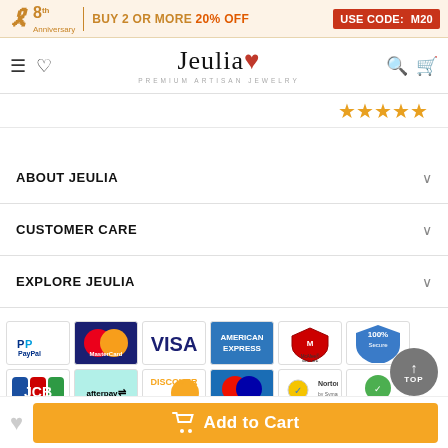8th Anniversary | BUY 2 OR MORE 20% OFF | USE CODE: M20
[Figure (logo): Jeulia Premium Artisan Jewelry logo with navigation icons (hamburger menu, heart, search, cart)]
[Figure (other): 5 gold star rating icons]
ABOUT JEULIA
CUSTOMER CARE
EXPLORE JEULIA
[Figure (other): Payment method icons: PayPal, MasterCard, Visa, American Express, McAfee Secure, 100% Secure, JCB, afterpay, Discover Network, Maestro, Norton by Symantec, Hacker Safe]
Add to Cart